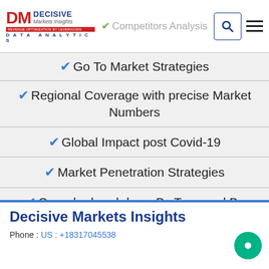Decisive Markets Insights – Competitors Analysis
✔ Go To Market Strategies
✔ Regional Coverage with precise Market Numbers
✔ Global Impact post Covid-19
✔ Market Penetration Strategies
✔ Granular breakdown By Type and By Application.
Decisive Markets Insights
Phone : US : +18317045538